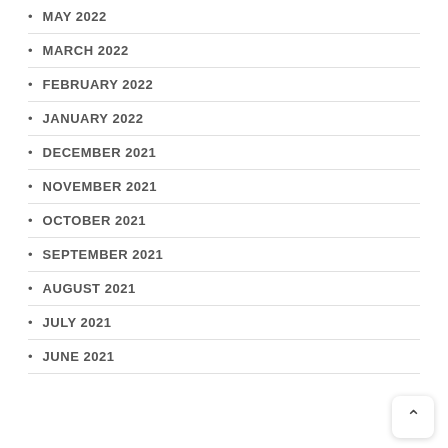MAY 2022
MARCH 2022
FEBRUARY 2022
JANUARY 2022
DECEMBER 2021
NOVEMBER 2021
OCTOBER 2021
SEPTEMBER 2021
AUGUST 2021
JULY 2021
JUNE 2021